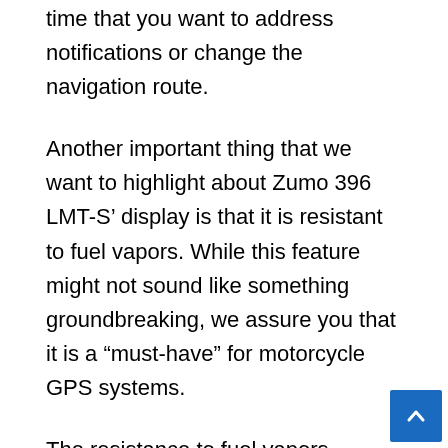time that you want to address notifications or change the navigation route.
Another important thing that we want to highlight about Zumo 396 LMT-S' display is that it is resistant to fuel vapors. While this feature might not sound like something groundbreaking, we assure you that it is a “must-have” for motorcycle GPS systems.
The resistance to fuel vapors significantly increases the durability of the device. Not just that, but the display is also resistant to UV rays and harsh weather.
There’s nothing worse when riding a motorcycle other than having to deal with rain. The roads are slippery and leaning in corners becomes more dangerous than ever. Fortunately, this is not going to be a problem for you a...